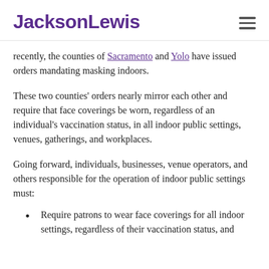JacksonLewis
recently, the counties of Sacramento and Yolo have issued orders mandating masking indoors.
These two counties' orders nearly mirror each other and require that face coverings be worn, regardless of an individual's vaccination status, in all indoor public settings, venues, gatherings, and workplaces.
Going forward, individuals, businesses, venue operators, and others responsible for the operation of indoor public settings must:
Require patrons to wear face coverings for all indoor settings, regardless of their vaccination status, and